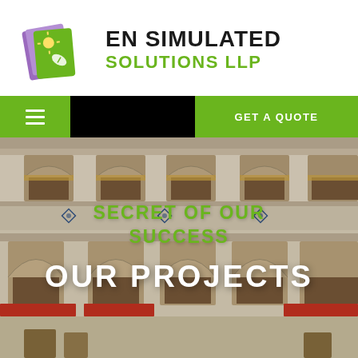[Figure (logo): EN Simulated Solutions LLP logo — purple and green illustrated book/leaf icon on the left, bold black text 'EN SIMULATED' and green text 'SOLUTIONS LLP' on the right]
EN SIMULATED SOLUTIONS LLP
[Figure (screenshot): Navigation bar with green hamburger menu on left, black center, green 'GET A QUOTE' button on right]
[Figure (photo): Ornate Indian haveli/building interior courtyard with arched windows, decorative painted walls, wooden balconies, and red awnings]
SECRET OF OUR SUCCESS
OUR PROJECTS